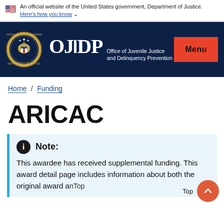An official website of the United States government, Department of Justice. Here's how you know
[Figure (logo): OJJDP Office of Juvenile Justice and Delinquency Prevention logo with Department of Justice seal and Menu button]
Home / Funding
ARICAC
Note: This awardee has received supplemental funding. This award detail page includes information about both the original award and Top